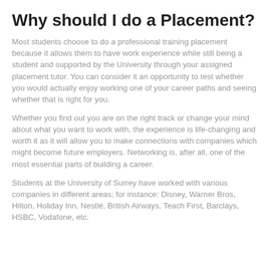Why should I do a Placement?
Most students choose to do a professional training placement because it allows them to have work experience while still being a student and supported by the University through your assigned placement tutor. You can consider it an opportunity to test whether you would actually enjoy working one of your career paths and seeing whether that is right for you.
Whether you find out you are on the right track or change your mind about what you want to work with, the experience is life-changing and worth it as it will allow you to make connections with companies which might become future employers. Networking is, after all, one of the most essential parts of building a career.
Students at the University of Surrey have worked with various companies in different areas; for instance: Disney, Warner Bros, Hilton, Holiday Inn, Nestlé, British Airways, Teach First, Barclays, HSBC, Vodafone, etc.